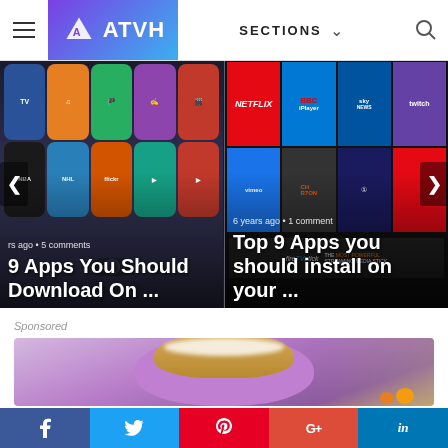ATVH - SECTIONS
[Figure (screenshot): Carousel showing two article thumbnails: left - Apple TV app grid with title '9 Apps You Should Download On ...' (rs ago • 5 comments), right - Streaming apps grid (Netflix, BBC iPlayer, Sky News, Twitch, Vimeo) with title 'Top 9 Apps you should install on your ...' (6 years ago • 1 comment)]
Sponsored
[Figure (photo): Sponsored content image showing a purple/blueberry pancake stack with a golden brown top and cream, with kitchen background]
f  Twitter  Pinterest  G+  in